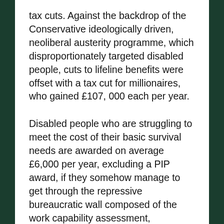tax cuts. Against the backdrop of the Conservative ideologically driven, neoliberal austerity programme, which disproportionately targeted disabled people, cuts to lifeline benefits were offset with a tax cut for millionaires, who gained £107,000 each per year.
Disabled people who are struggling to meet the cost of their basic survival needs are awarded on average £6,000 per year, excluding a PIP award, if they somehow manage to get through the repressive bureaucratic wall composed of the work capability assessment, mandatory review,